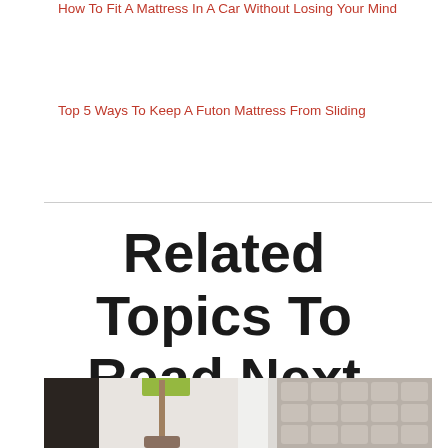How To Fit A Mattress In A Car Without Losing Your Mind
Top 5 Ways To Keep A Futon Mattress From Sliding
Related Topics To Read Next
[Figure (photo): Interior bedroom scene showing a green lamp on the left and a tufted gray headboard on the right]